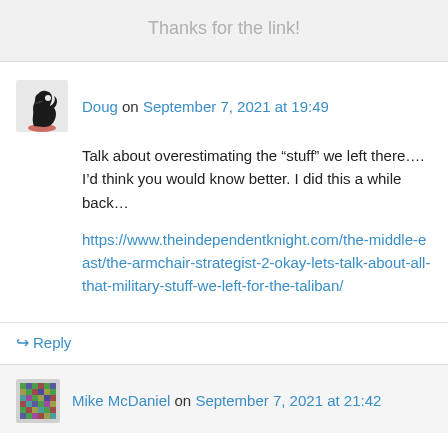Thanks for the link!
Doug on September 7, 2021 at 19:49
Talk about overestimating the “stuff” we left there…. I’d think you would know better. I did this a while back…
https://www.theindependentknight.com/the-middle-east/the-armchair-strategist-2-okay-lets-talk-about-all-that-military-stuff-we-left-for-the-taliban/
Reply
Mike McDaniel on September 7, 2021 at 21:42